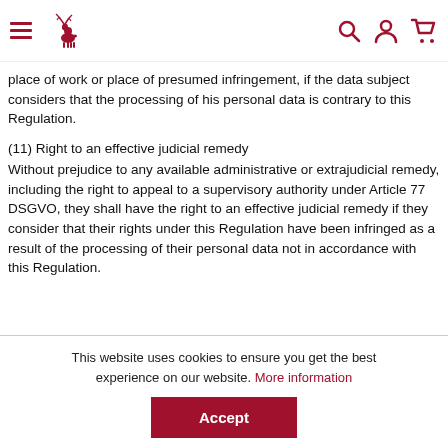Navigation header with hamburger menu, reindeer logo, search, account, and cart icons
place of work or place of presumed infringement, if the data subject considers that the processing of his personal data is contrary to this Regulation.
(11) Right to an effective judicial remedy
Without prejudice to any available administrative or extrajudicial remedy, including the right to appeal to a supervisory authority under Article 77 DSGVO, they shall have the right to an effective judicial remedy if they consider that their rights under this Regulation have been infringed as a result of the processing of their personal data not in accordance with this Regulation.
This website uses cookies to ensure you get the best experience on our website. More information
Accept